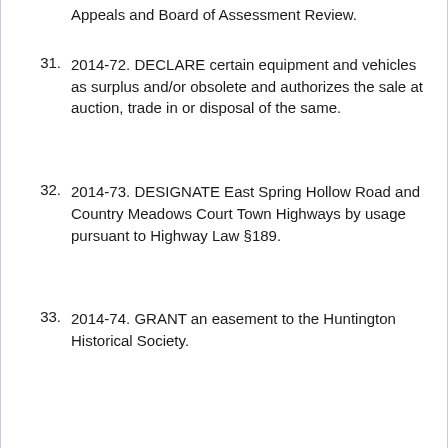Appeals and Board of Assessment Review.
31. 2014-72. DECLARE certain equipment and vehicles as surplus and/or obsolete and authorizes the sale at auction, trade in or disposal of the same.
32. 2014-73. DESIGNATE East Spring Hollow Road and Country Meadows Court Town Highways by usage pursuant to Highway Law §189.
33. 2014-74. GRANT an easement to the Huntington Historical Society.